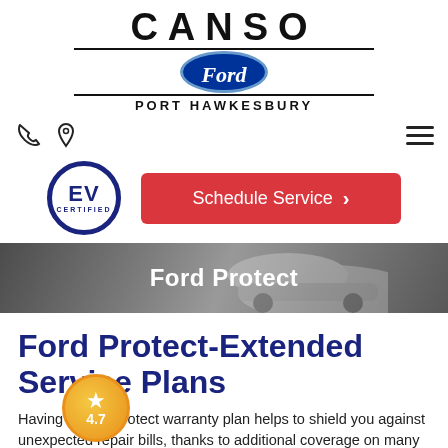[Figure (logo): Canso Ford Port Hawkesbury dealer logo with Ford oval badge]
[Figure (logo): EV Certified badge (circular navy blue badge with EV CERTIFIED text)]
[Figure (other): Schedule Service button in red with chevron]
[Figure (photo): Hero banner with racing car, dark gradient overlay, text Ford Protect]
Ford Protect-Extended Service Plans
Having a Ford Protect warranty plan helps to shield you against unexpected repair bills, thanks to additional coverage on many vehicle components